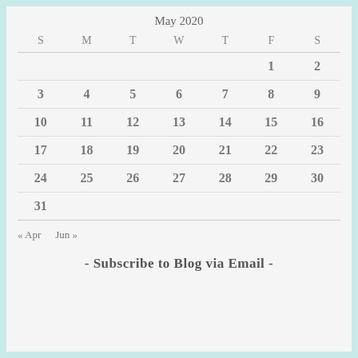May 2020
| S | M | T | W | T | F | S |
| --- | --- | --- | --- | --- | --- | --- |
|  |  |  |  |  | 1 | 2 |
| 3 | 4 | 5 | 6 | 7 | 8 | 9 |
| 10 | 11 | 12 | 13 | 14 | 15 | 16 |
| 17 | 18 | 19 | 20 | 21 | 22 | 23 |
| 24 | 25 | 26 | 27 | 28 | 29 | 30 |
| 31 |  |  |  |  |  |  |
« Apr   Jun »
- Subscribe to Blog via Email -